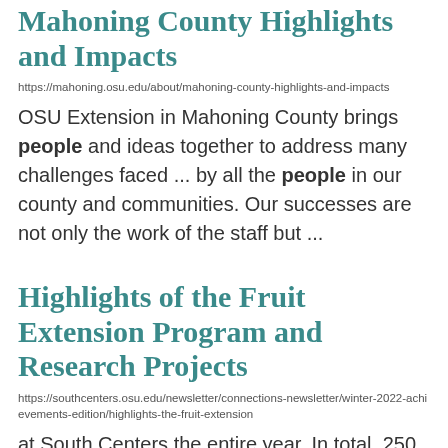Mahoning County Highlights and Impacts
https://mahoning.osu.edu/about/mahoning-county-highlights-and-impacts
OSU Extension in Mahoning County brings people and ideas together to address many challenges faced ... by all the people in our county and communities. Our successes are not only the work of the staff but ...
Highlights of the Fruit Extension Program and Research Projects
https://southcenters.osu.edu/newsletter/connections-newsletter/winter-2022-achievements-edition/highlights-the-fruit-extension
at South Centers the entire year. In total, 250